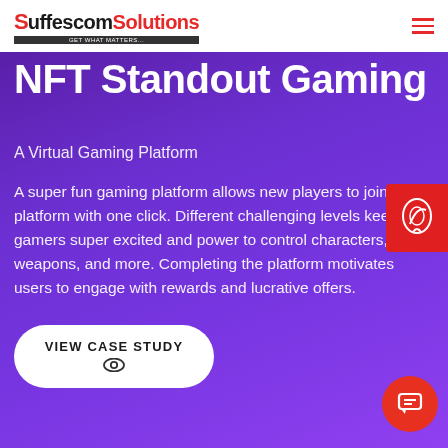Suffescom Solutions
NFT Standout Gaming
A Virtual Gaming Platform
A super fun gaming platform allows new players to join the platform with one click. Different challenging levels keep gamers super excited and power to control characters, weapons, and more. Completing the platform motivates users to engage with rewards and lucrative offers.
VIEW CASE STUDY